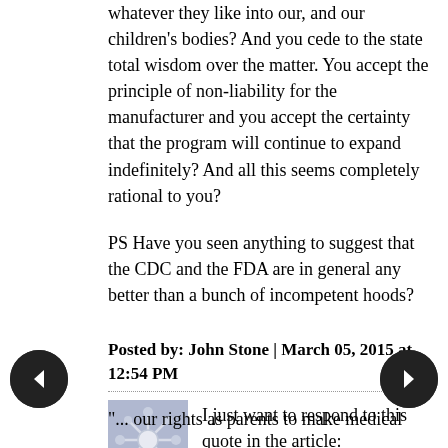whatever they like into our, and our children's bodies? And you cede to the state total wisdom over the matter. You accept the principle of non-liability for the manufacturer and you accept the certainty that the program will continue to expand indefinitely? And all this seems completely rational to you?
PS Have you seen anything to suggest that the CDC and the FDA are in general any better than a bunch of incompetent hoods?
Posted by: John Stone | March 05, 2015 at 12:54 PM
[Figure (illustration): Decorative avatar image with snowflake/starburst pattern in blue-grey tones]
I just want to respond to this quote in the article:
"... our rights as parents to make medical decisions for our children..."